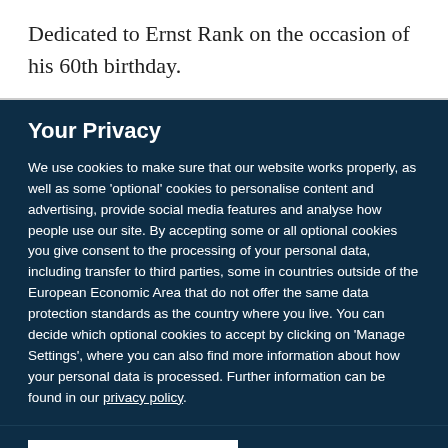Dedicated to Ernst Rank on the occasion of his 60th birthday.
Your Privacy
We use cookies to make sure that our website works properly, as well as some 'optional' cookies to personalise content and advertising, provide social media features and analyse how people use our site. By accepting some or all optional cookies you give consent to the processing of your personal data, including transfer to third parties, some in countries outside of the European Economic Area that do not offer the same data protection standards as the country where you live. You can decide which optional cookies to accept by clicking on 'Manage Settings', where you can also find more information about how your personal data is processed. Further information can be found in our privacy policy.
Accept all cookies
Manage preferences